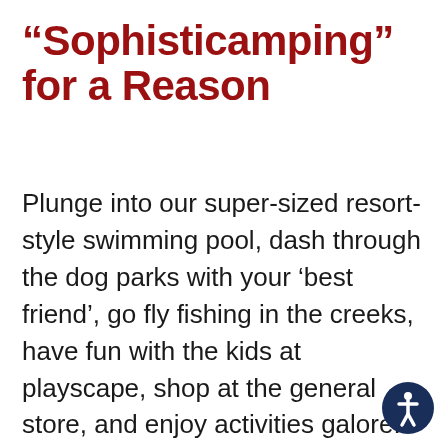“Sophisticamping” for a Reason
Plunge into our super-sized resort-style swimming pool, dash through the dog parks with your ‘best friend’, go fly fishing in the creeks, have fun with the kids at playscape, shop at the general store, and enjoy activities galore. And if you need to get a little work done, we have a business center to help you focus before getting back to the fun. What a way to spend an unforgettable vacation!